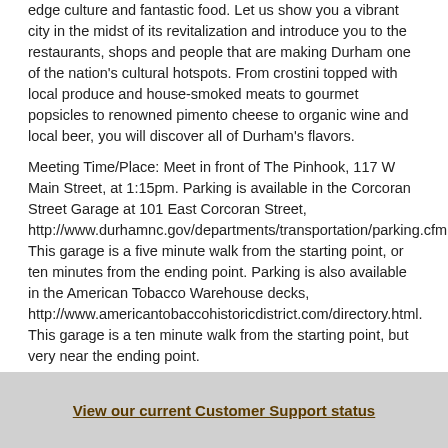edge culture and fantastic food. Let us show you a vibrant city in the midst of its revitalization and introduce you to the restaurants, shops and people that are making Durham one of the nation's cultural hotspots. From crostini topped with local produce and house-smoked meats to gourmet popsicles to renowned pimento cheese to organic wine and local beer, you will discover all of Durham's flavors.
Meeting Time/Place: Meet in front of The Pinhook, 117 W Main Street, at 1:15pm. Parking is available in the Corcoran Street Garage at 101 East Corcoran Street, http://www.durhamnc.gov/departments/transportation/parking.cfm. This garage is a five minute walk from the starting point, or ten minutes from the ending point. Parking is also available in the American Tobacco Warehouse decks, http://www.americantobaccohistoricdistrict.com/directory.html. This garage is a ten minute walk from the starting point, but very near the ending point.
**Please provide a mobile phone number on your registration**
To purchase tickets for 2012 dates, CLICK HERE!
Note: Tour runs rain or shine. Please dress appropriately for the weather. Wear comfortable shoes; walking distance is approximately 3 miles. Tour runs 3 hours.
View our current Customer Support status